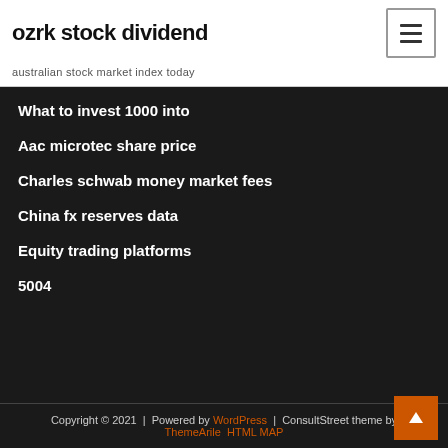ozrk stock dividend
australian stock market index today
What to invest 1000 into
Aac microtec share price
Charles schwab money market fees
China fx reserves data
Equity trading platforms
5004
Copyright © 2021 | Powered by WordPress | ConsultStreet theme by ThemeArile HTML MAP